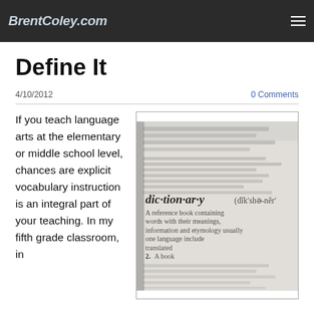BrentColey.com
Define It
4/10/2012
0 Comments
If you teach language arts at the elementary or middle school level, chances are explicit vocabulary instruction is an integral part of your teaching. In my fifth grade classroom, in
[Figure (photo): Close-up photograph of a dictionary page showing the entry for 'dictionary' with phonetic spelling and definition text]